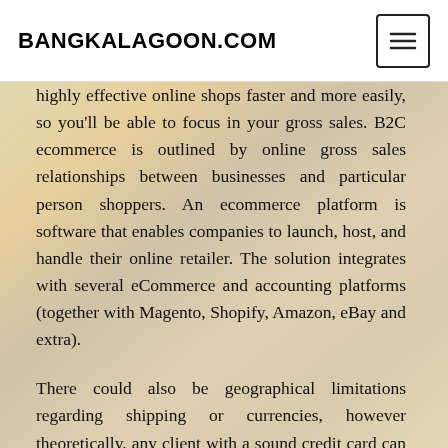BANGKALAGOON.COM
highly effective online shops faster and more easily, so you'll be able to focus in your gross sales. B2C ecommerce is outlined by online gross sales relationships between businesses and particular person shoppers. An ecommerce platform is software that enables companies to launch, host, and handle their online retailer. The solution integrates with several eCommerce and accounting platforms (together with Magento, Shopify, Amazon, eBay and extra).
There could also be geographical limitations regarding shipping or currencies, however theoretically, any client with a sound credit card can use the sort of software program to buy on-line